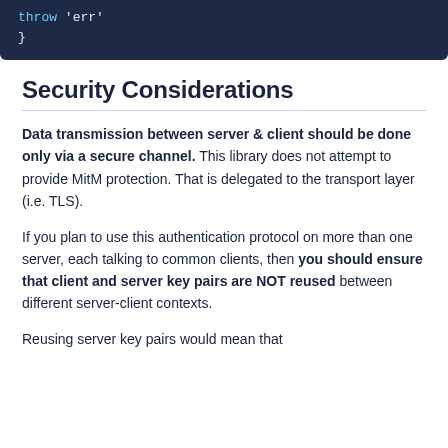[Figure (screenshot): Code block on dark navy background showing: throw 'err'; }]
Security Considerations
Data transmission between server & client should be done only via a secure channel. This library does not attempt to provide MitM protection. That is delegated to the transport layer (i.e. TLS).
If you plan to use this authentication protocol on more than one server, each talking to common clients, then you should ensure that client and server key pairs are NOT reused between different server-client contexts.
Reusing server key pairs would mean that